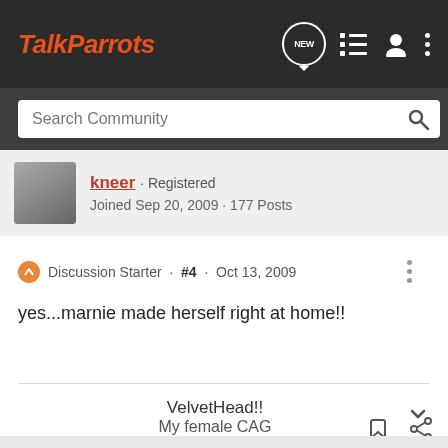TalkParrots
Search Community
kneer · Registered
Joined Sep 20, 2009 · 177 Posts
Discussion Starter · #4 · Oct 13, 2009
yes...marnie made herself right at home!!
VelvetHead!!
My female CAG